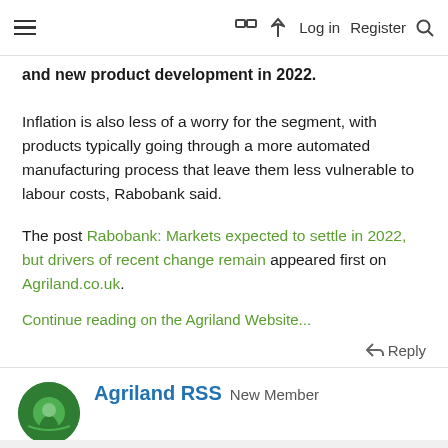≡  □  ⚡  Log in  Register  🔍
and new product development in 2022.
Inflation is also less of a worry for the segment, with products typically going through a more automated manufacturing process that leave them less vulnerable to labour costs, Rabobank said.
The post Rabobank: Markets expected to settle in 2022, but drivers of recent change remain appeared first on Agriland.co.uk.
Continue reading on the Agriland Website...
Reply
Agriland RSS New Member